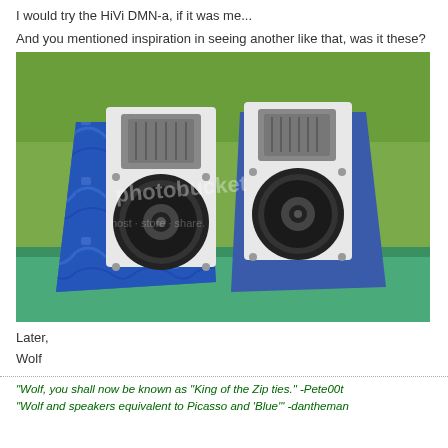I would try the HiVi DMN-a, if it was me...
And you mentioned inspiration in seeing another like that, was it these?
[Figure (photo): Two blue marble-finish bookshelf speakers with white baffles and silver tweeter/woofer drivers, placed on a green surface outdoors with grass in the background. Photobucket watermark visible.]
Later,
Wolf
"Wolf, you shall now be known as "King of the Zip ties." -Pete00t
"Wolf and speakers equivalent to Picasso and 'Blue'" -dantheman